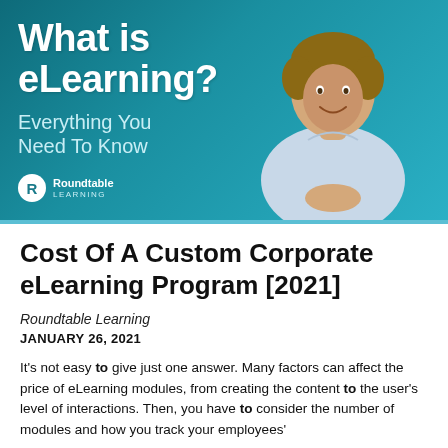[Figure (illustration): Banner image with teal background showing 'What is eLearning? Everything You Need To Know' text, a man in a light blue shirt with clasped hands, and the Roundtable Learning logo in the bottom left.]
Cost Of A Custom Corporate eLearning Program [2021]
Roundtable Learning
JANUARY 26, 2021
It's not easy to give just one answer. Many factors can affect the price of eLearning modules, from creating the content to the user's level of interactions. Then, you have to consider the number of modules and how you track your employees'